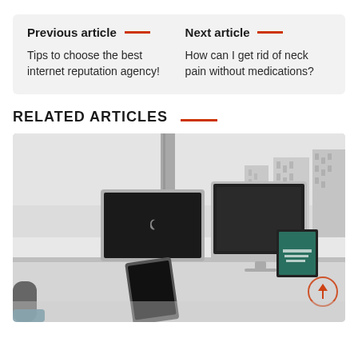Previous article — Tips to choose the best internet reputation agency!
Next article — How can I get rid of neck pain without medications?
RELATED ARTICLES
[Figure (photo): Office desk with iMac computers, tablet, plant, framed picture, and city skyline visible through large windows in background. A circular scroll-up button is visible in lower right.]